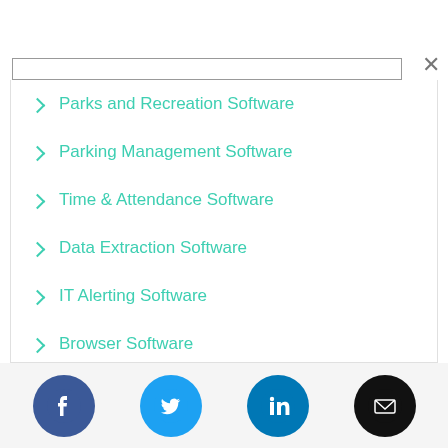Parks and Recreation Software
Parking Management Software
Time & Attendance Software
Data Extraction Software
IT Alerting Software
Browser Software